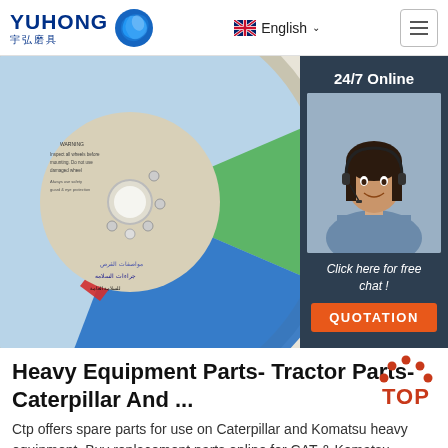YUHONG 宇弘磨具 — English
[Figure (photo): Close-up photo of a colorful grinding/cutting disc (abrasive wheel) with blue, green, red markings and white center hole, with a customer service overlay panel on the right showing '24/7 Online', a female agent photo, 'Click here for free chat!' text, and an orange QUOTATION button.]
Heavy Equipment Parts- Tractor Parts- Caterpillar And ...
Ctp offers spare parts for use on Caterpillar and Komatsu heavy equipment. Buy replacement parts online for CAT & Komatsu excavators, wheel loaders, backhoes, mini ...